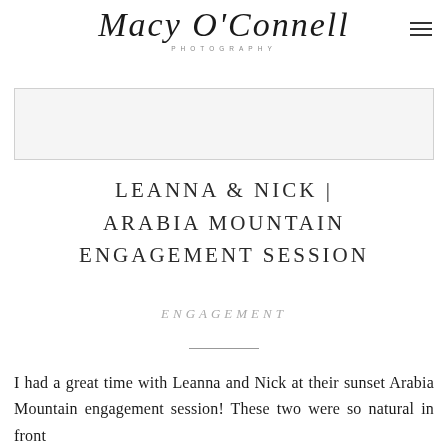Macy O'Connell Photography
[Figure (photo): Placeholder image area with light gray background and border]
LEANNA & NICK | ARABIA MOUNTAIN ENGAGEMENT SESSION
ENGAGEMENT
I had a great time with Leanna and Nick at their sunset Arabia Mountain engagement session! These two were so natural in front